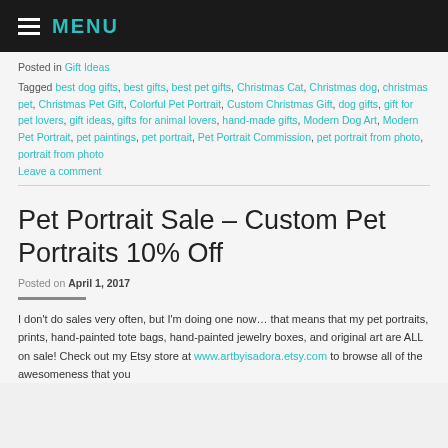MENU
Posted in Gift Ideas
Tagged best dog gifts, best gifts, best pet gifts, Christmas Cat, Christmas dog, christmas pet, Christmas Pet Gift, Colorful Pet Portrait, Custom Christmas Gift, dog gifts, gift for pet lovers, gift ideas, gifts for animal lovers, hand-made gifts, Modern Dog Art, Modern Pet Portrait, pet paintings, pet portrait, Pet Portrait Commission, pet portrait from photo, portrait from photo
Leave a comment
Pet Portrait Sale – Custom Pet Portraits 10% Off
Posted on April 1, 2017
I don't do sales very often, but I'm doing one now… that means that my pet portraits, prints, hand-painted tote bags, hand-painted jewelry boxes, and original art are ALL on sale! Check out my Etsy store at www.artbyisadora.etsy.com to browse all of the awesomeness that you